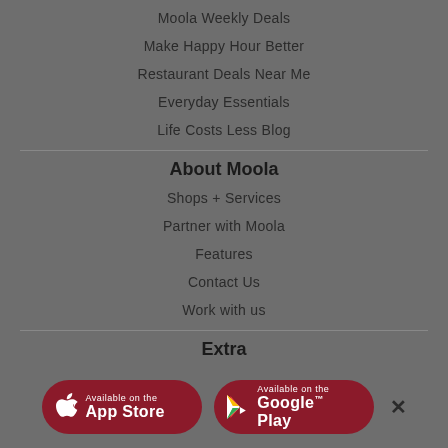Moola Weekly Deals
Make Happy Hour Better
Restaurant Deals Near Me
Everyday Essentials
Life Costs Less Blog
About Moola
Shops + Services
Partner with Moola
Features
Contact Us
Work with us
Extra
Moola+ Corporate Gifting
Terms of Use
[Figure (screenshot): App Store and Google Play download buttons on dark red rounded rectangle backgrounds, with a close (×) button on the right]